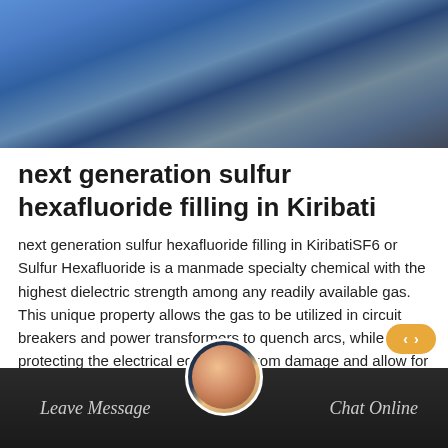[Figure (photo): Top portion of a photo showing blue fabric/equipment in an industrial or mechanical setting]
next generation sulfur hexafluoride filling in Kiribati
next generation sulfur hexafluoride filling in KiribatiSF6 or Sulfur Hexafluoride is a manmade specialty chemical with the highest dielectric strength among any readily available gas. This unique property allows the gas to be utilized in circuit breakers and power transformers to quench arcs, while safely protecting the electrical equipment from damage and allow for reliable power delivery.
[Figure (other): Orange 'Get Price' button]
[Figure (photo): Bottom bar with Leave Message and Chat Online options, with a customer service avatar in the center]